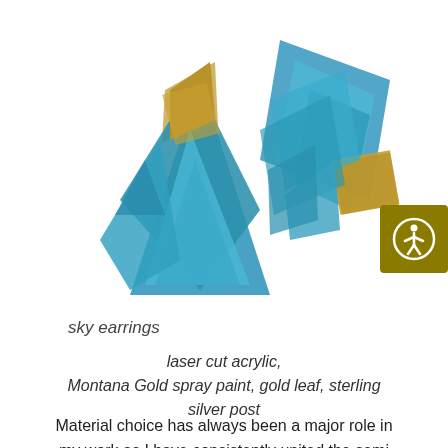[Figure (photo): Two geometric earrings made of layered teal/blue angular acrylic pieces with gold glitter accents, displayed on white background]
sky earrings
laser cut acrylic, Montana Gold spray paint, gold leaf, sterling silver post
Material choice has always been a major role in my work as I have consistently united the semi precious with the mundane and